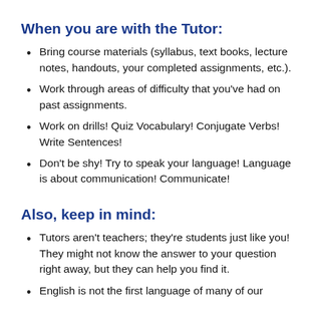When you are with the Tutor:
Bring course materials (syllabus, text books, lecture notes, handouts, your completed assignments, etc.).
Work through areas of difficulty that you've had on past assignments.
Work on drills! Quiz Vocabulary! Conjugate Verbs! Write Sentences!
Don't be shy! Try to speak your language! Language is about communication! Communicate!
Also, keep in mind:
Tutors aren't teachers; they're students just like you! They might not know the answer to your question right away, but they can help you find it.
English is not the first language of many of our